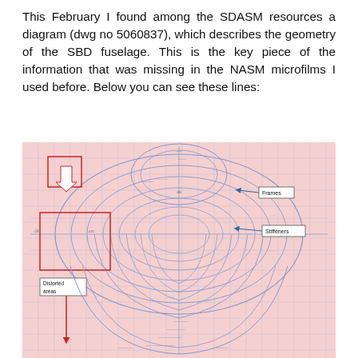This February I found among the SDASM resources a diagram (dwg no 5060837), which describes the geometry of the SBD fuselage. This is the key piece of the information that was missing in the NASM microfilms I used before. Below you can see these lines:
[Figure (engineering-diagram): SBD fuselage geometry blueprint drawing (dwg no 5060837) showing cross-section frames and stiffeners with annotations. The blueprint has a light pink/red background with blue grid lines. Labeled elements include 'Frames' (pointed to by blue arrow on right), 'Stiffeners' (pointed to by blue arrow on right), 'Distorted areas' (red box annotation on left with downward red arrow), and a red rectangle near the top-left with a white arrow. The diagram shows concentric curved lines representing fuselage cross-sections.]